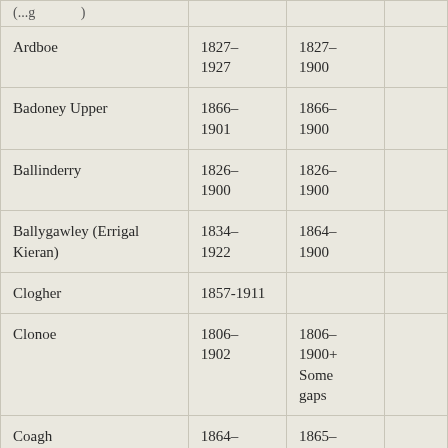| (partial row top) |  |  |  |
| Ardboe | 1827-
1927 | 1827-
1900 |  |
| Badoney Upper | 1866-
1901 | 1866-
1900 |  |
| Ballinderry | 1826-
1900 | 1826-
1900 |  |
| Ballygawley (Errigal Kieran) | 1834-
1922 | 1864-
1900 |  |
| Clogher | 1857-1911 |  |  |
| Clonoe | 1806-
1902 | 1806-
1900+
Some gaps |  |
| Coagh | 1864-
1921 | 1865-
1900 |  |